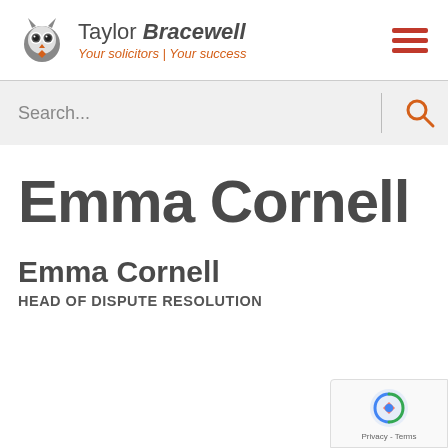[Figure (logo): Taylor Bracewell solicitors logo with owl icon, company name and tagline 'Your solicitors | Your success']
Search...
Emma Cornell
Emma Cornell
HEAD OF DISPUTE RESOLUTION